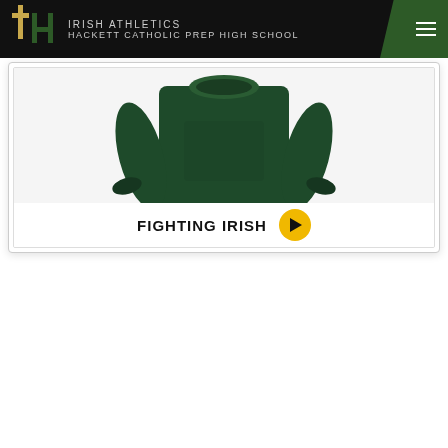IRISH ATHLETICS — HACKETT CATHOLIC PREP HIGH SCHOOL
[Figure (photo): Dark green crewneck sweatshirt displayed on a white/light background, showing front view with long sleeves.]
FIGHTING IRISH